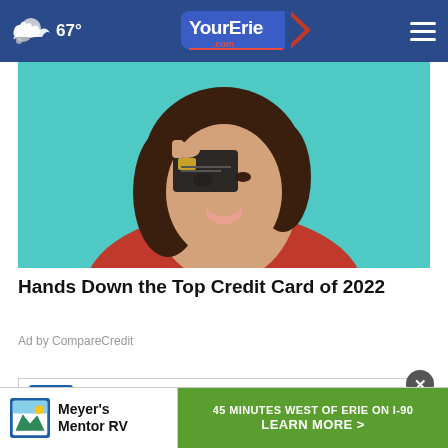☁ 67° | YourErie.com
[Figure (photo): Woman holding a dark credit card up to her eye, wearing a red sweater, against a teal/cyan background.]
Hands Down the Top Credit Card of 2022
Ad by CompareCredit
[Figure (logo): Meyer's Mentor RV logo with mountain/lake graphic. Ad banner with text: 45 MINUTES WEST OF ERIE ON I-90. LEARN MORE >]
Meyer's Mentor RV | 45 MINUTES WEST OF ERIE ON I-90 | LEARN MORE >